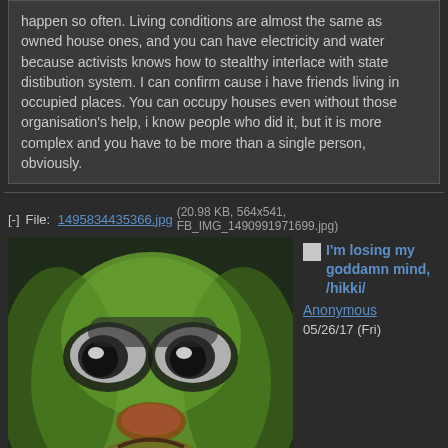happen so often. Living conditions are almost the same as owned house ones, and you can have electricity and water because activists knows how to stealthy interlace with state distibution system. I can confirm cause i have friends living in occupied places. You can occupy houses even without those organisation's help, i know people who did it, but it is more complex and you have to be more than a single person, obviously.
[-] File: 1495834435366.jpg (20.98 KB, 564x541, FB_IMG_1490991971699.jpg)
[Figure (photo): Sad Pepe the Frog meme image with text '[sadness intensifies]' overlaid at the bottom on a dark blue background]
I'm losing my goddamn mind, /hikki/ Anonymous 05/26/17 (Fri)
21:33:55 No.3139  [Reply]